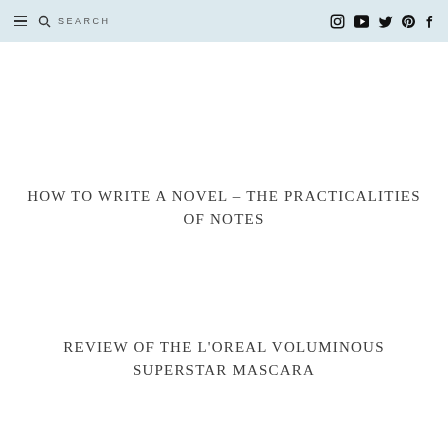☰ 🔍 SEARCH  [instagram] [youtube] [twitter] [pinterest] [facebook]
HOW TO WRITE A NOVEL – THE PRACTICALITIES OF NOTES
REVIEW OF THE L'OREAL VOLUMINOUS SUPERSTAR MASCARA